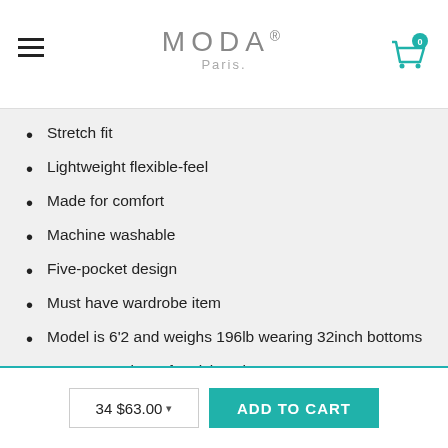MODA® Paris. — navigation header with hamburger menu and cart icon
Stretch fit
Lightweight flexible-feel
Made for comfort
Machine washable
Five-pocket design
Must have wardrobe item
Model is 6'2 and weighs 196lb wearing 32inch bottoms
See menu above for sizing chart
Delivery
34 $63.00  ADD TO CART